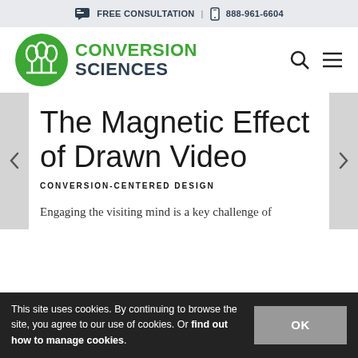FREE CONSULTATION | 888-961-6604
[Figure (logo): Conversion Sciences logo with green circular emblem and bold text]
The Magnetic Effect of Drawn Video
CONVERSION-CENTERED DESIGN
Engaging the visiting mind is a key challenge of
This site uses cookies. By continuing to browse the site, you agree to our use of cookies. Or find out how to manage cookies.